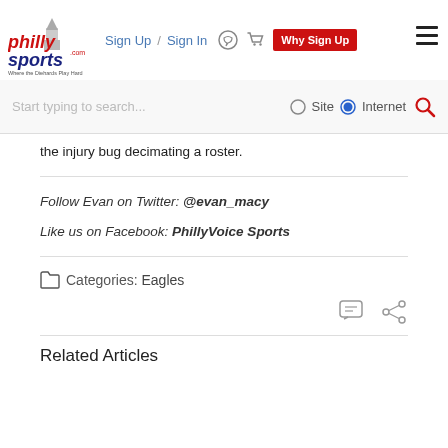Philly Sports - Sign Up / Sign In - Why Sign Up
the injury bug decimating a roster.
Follow Evan on Twitter: @evan_macy
Like us on Facebook: PhillyVoice Sports
Categories: Eagles
Related Articles